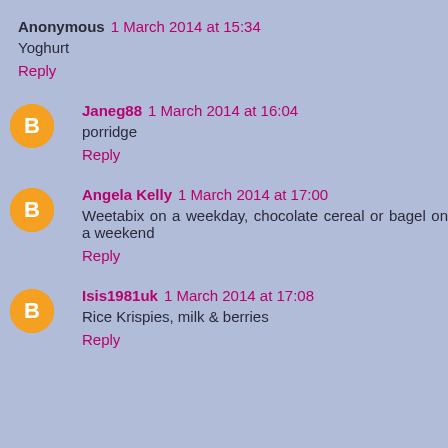Anonymous 1 March 2014 at 15:34
Yoghurt
Reply
Janeg88 1 March 2014 at 16:04
porridge
Reply
Angela Kelly 1 March 2014 at 17:00
Weetabix on a weekday, chocolate cereal or bagel on a weekend
Reply
Isis1981uk 1 March 2014 at 17:08
Rice Krispies, milk & berries
Reply